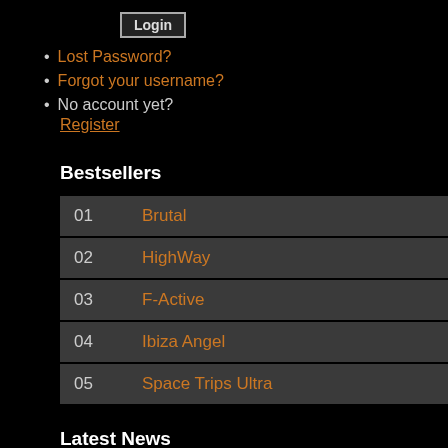Login
Lost Password?
Forgot your username?
No account yet? Register
Bestsellers
| 01 | Brutal |
| 02 | HighWay |
| 03 | F-Active |
| 04 | Ibiza Angel |
| 05 | Space Trips Ultra |
Latest News
Credit Card via BitGold!
coming: A...
Ingredients: Chloride, trace elem...
Legal statu...
NEW ingr... Ready to b...
Quantity: